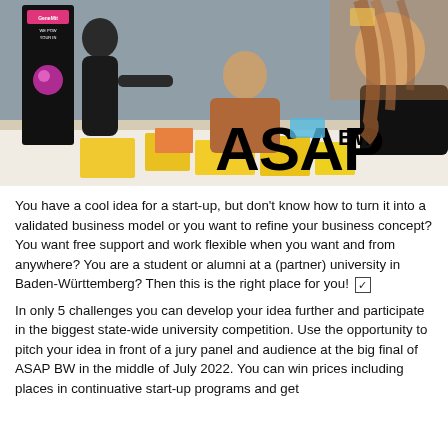[Figure (photo): Photo of students working together at a table with yellow sticky notes/papers, with a person standing and presenting. The ASAP BW logo is overlaid in large bold black text in the bottom right of the image.]
You have a cool idea for a start-up, but don't know how to turn it into a validated business model or you want to refine your business concept? You want free support and work flexible when you want and from anywhere? You are a student or alumni at a (partner) university in Baden-Württemberg? Then this is the right place for you! ☑
In only 5 challenges you can develop your idea further and participate in the biggest state-wide university competition. Use the opportunity to pitch your idea in front of a jury panel and audience at the big final of ASAP BW in the middle of July 2022. You can win prices including places in continuative start-up programs and get